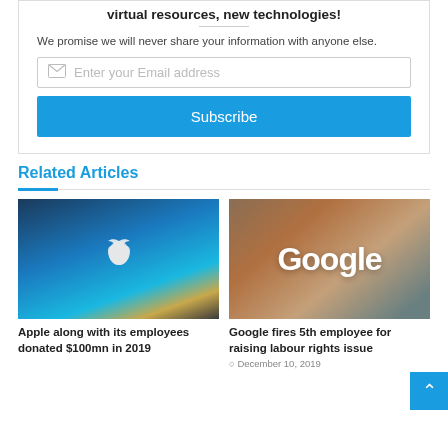virtual resources, new technologies!
We promise we will never share your information with anyone else.
Enter your Email address
Subscribe
Related Articles
[Figure (photo): Looking up at Apple retail store with glass ceiling and Apple logo visible, blue sky and tall buildings in background]
Apple along with its employees donated $100mn in 2019
[Figure (photo): Google sign on brick building exterior]
Google fires 5th employee for raising labour rights issue
December 10, 2019